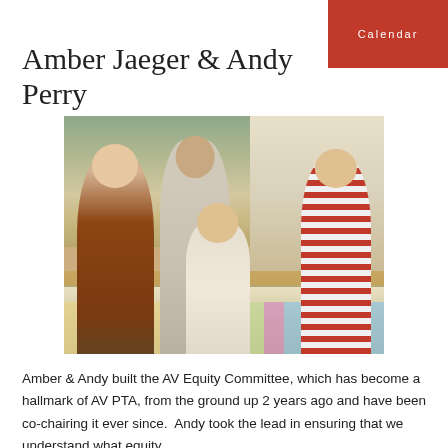Calendar
Amber Jaeger & Andy Perry
[Figure (photo): A woman and three young boys gathered around a table with a colorful birthday tablecloth, appearing to open gifts in a home kitchen setting.]
Amber & Andy built the AV Equity Committee, which has become a hallmark of AV PTA, from the ground up 2 years ago and have been co-chairing it ever since.  Andy took the lead in ensuring that we understand what equity